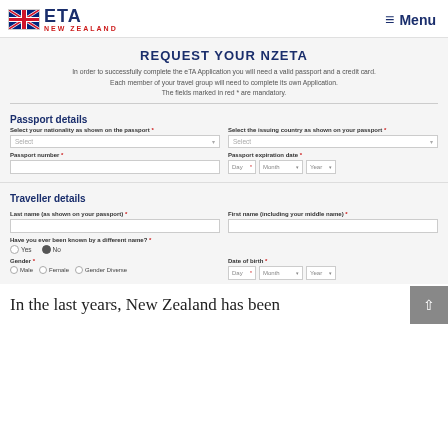[Figure (logo): ETA New Zealand logo with UK flag icon, blue ETA text, red NEW ZEALAND text]
≡ Menu
REQUEST YOUR NZETA
In order to successfully complete the eTA Application you will need a valid passport and a credit card. Each member of your travel group will need to complete its own Application. The fields marked in red * are mandatory.
Passport details
Select your nationality as shown on the passport * | Select the issuing country as shown on your passport *
Passport number * | Passport expiration date * Day * Month * Year *
Traveller details
Last name (as shown on your passport) * | First name (including your middle name) *
Have you ever been known by a different name? * Yes No
Gender * Male Female Gender Diverse | Date of birth * Day * Month * Year *
In the last years, New Zealand has been